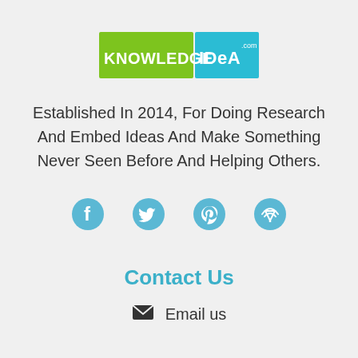[Figure (logo): KnowledgeIdea.com logo with green background for KNOWLEDGE and blue background for IDEA with .com superscript]
Established In 2014, For Doing Research And Embed Ideas And Make Something Never Seen Before And Helping Others.
[Figure (infographic): Four social media icons in light blue: Facebook, Twitter, Pinterest, and a wifi/antenna icon]
Contact Us
Email us